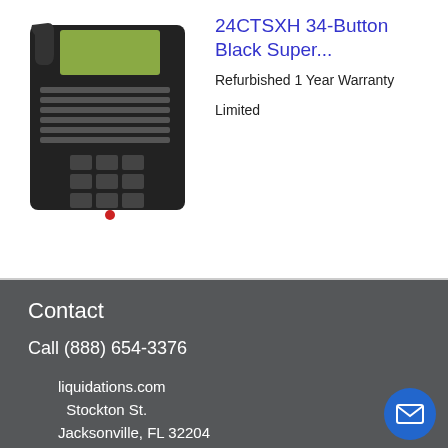[Figure (photo): Black office telephone with display screen and multiple buttons]
24CTSXH 34-Button Black Super...
Refurbished 1 Year Warranty
Limited
Contact
Call (888) 654-3376
Monday-Friday
8am-6pm EST
Address
liquidations.com
Stockton St.
Jacksonville, FL 32204